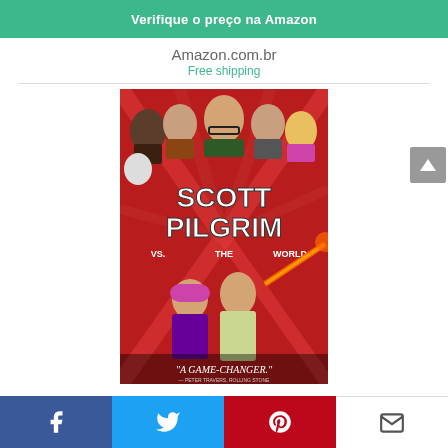Verifique o preço na Amazon
Amazon.com.br
Free shipping
[Figure (photo): Movie poster for Scott Pilgrim vs. the World. Shows cast members at the top, large stylized title text 'SCOTT PILGRIM VS. THE WORLD', main character holding a glowing red sword, a woman with pink hair, and the tagline '"A GAME-CHANGER."' on a red background.]
Facebook, Twitter, Pinterest, Email social share bar